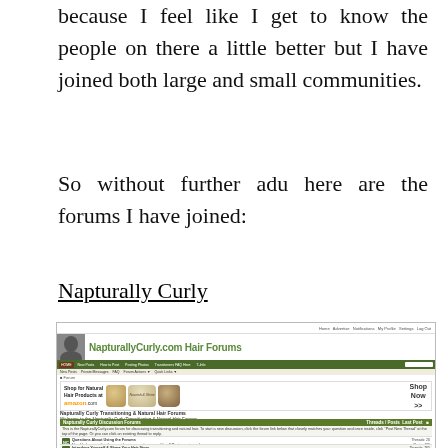because I feel like I get to know the people on there a little better but I have joined both large and small communities.
So without further adu here are the forums I have joined:
Napturally Curly
[Figure (screenshot): Screenshot of NapturallyCurly.com Hair Forums website showing the forum header with a woman's portrait, green navigation bar, an Amazon.com advertisement for natural hair products showing coconut oil and other jars, and the forum listing including 'Napturally Curly Discussion Forums' table with threads/posts counts.]